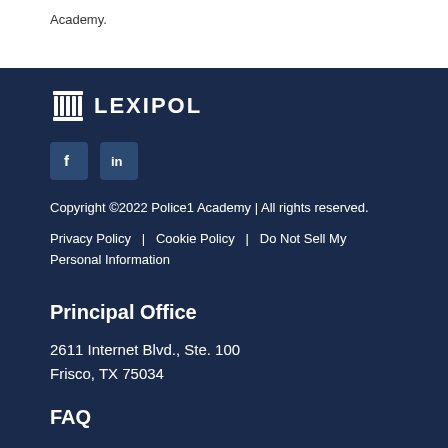Academy.
[Figure (logo): Lexipol logo with column icon and white text on dark navy background]
[Figure (infographic): Facebook and LinkedIn social media icon buttons]
Copyright ©2022 Police1 Academy | All rights reserved.
Privacy Policy  |  Cookie Policy  |  Do Not Sell My Personal Information
Principal Office
2611 Internet Blvd., Ste. 100
Frisco, TX 75034
FAQ